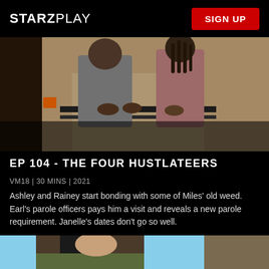STARZPLAY
SIGN UP
[Figure (photo): Two people leaning on a window sill from outside, one in grey hoodie and one in pink top with dreadlocks, warm-toned house exterior]
EP 104 - THE FOUR HUSTLATEERS
VM18 | 30 MINS | 2021
Ashley and Rainey start bonding with some of Miles' old weed. Earl's parole officers pays him a visit and reveals a new parole requirement. Janelle's dates don't go so well.
[Figure (photo): Young woman with long dark hair looking down, wearing a patterned top, outdoor rocky background with blue sky]